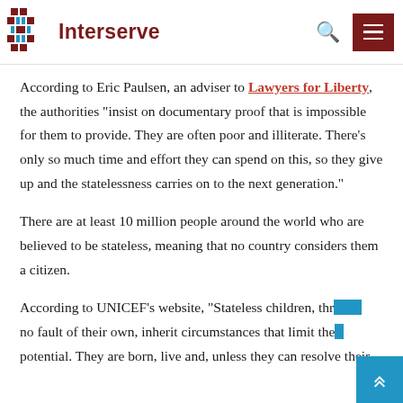Interserve
According to Eric Paulsen, an adviser to Lawyers for Liberty, the authorities “insist on documentary proof that is impossible for them to provide. They are often poor and illiterate. There’s only so much time and effort they can spend on this, so they give up and the statelessness carries on to the next generation.”
There are at least 10 million people around the world who are believed to be stateless, meaning that no country considers them a citizen.
According to UNICEF’s website, “Stateless children, through no fault of their own, inherit circumstances that limit their potential. They are born, live and, unless they can resolve their